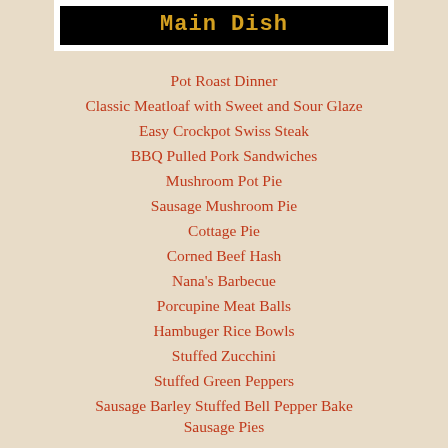Main Dish
Pot Roast Dinner
Classic Meatloaf with Sweet and Sour Glaze
Easy Crockpot Swiss Steak
BBQ Pulled Pork Sandwiches
Mushroom Pot Pie
Sausage Mushroom Pie
Cottage Pie
Corned Beef Hash
Nana's Barbecue
Porcupine Meat Balls
Hambuger Rice Bowls
Stuffed Zucchini
Stuffed Green Peppers
Sausage Barley Stuffed Bell Pepper Bake
Sausage Pies
Sausage and Kale Hand Pies
Sausage with Apples and Onions
Milanesa
Turkey Black Bean Enchiladas